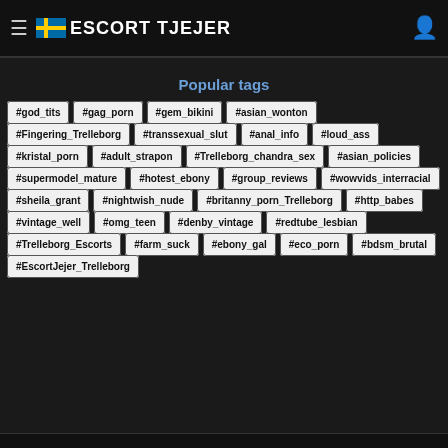≡ 🇸🇪 ESCORT TJEJER
Popular tags
#god_tits
#gag_porn
#gem_bikini
#asian_wonton
#Fingering_Trelleborg
#transsexual_slut
#anal_info
#loud_ass
#kristal_porn
#adult_strapon
#Trelleborg_chandra_sex
#asian_policies
#supermodel_mature
#hotest_ebony
#group_reviews
#wowvids_interracial
#sheila_grant
#nightwish_nude
#britanny_porn_Trelleborg
#http_babes
#vintage_well
#omg_teen
#denby_vintage
#redtube_lesbian
#Trelleborg_Escorts
#farm_suck
#ebony_gal
#eco_porn
#bdsm_brutal
#EscortJejer_Trelleborg